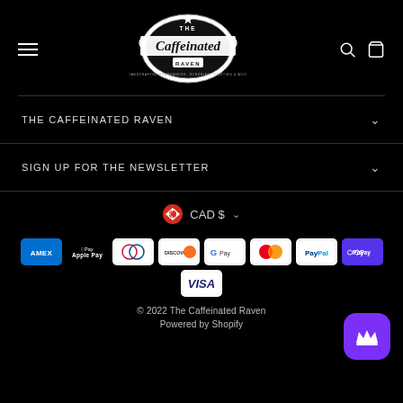[Figure (logo): The Caffeinated Raven logo — ornate black and white badge with raven and banner, subtitle: QUALITY HANDCRAFTED FRAGRANCES, SUNDRIES, ODDITIES & ACCESSORIES]
THE CAFFEINATED RAVEN
SIGN UP FOR THE NEWSLETTER
CAD $
[Figure (other): Payment method icons: AMEX, Apple Pay, Diners Club, Discover, Google Pay, Mastercard, PayPal, Shop Pay, Visa]
© 2022 The Caffeinated Raven
Powered by Shopify